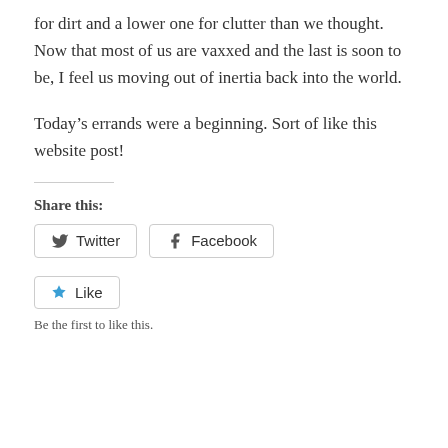for dirt and a lower one for clutter than we thought. Now that most of us are vaxxed and the last is soon to be, I feel us moving out of inertia back into the world.
Today’s errands were a beginning. Sort of like this website post!
Share this:
[Figure (other): Twitter and Facebook share buttons]
[Figure (other): Like button with star icon]
Be the first to like this.